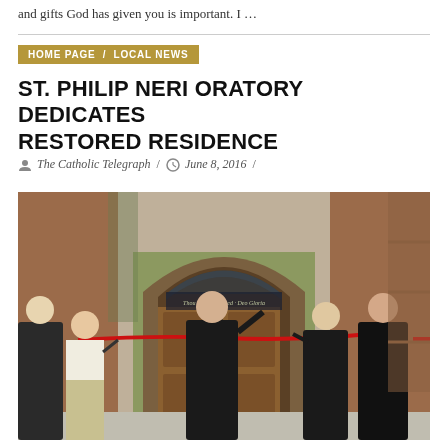and gifts God has given you is important. I …
HOME PAGE / LOCAL NEWS
ST. PHILIP NERI ORATORY DEDICATES RESTORED RESIDENCE
The Catholic Telegraph / June 8, 2016 /
[Figure (photo): Several people in formal attire cutting a red ribbon at the entrance of a restored building with ornate wooden double doors set in a brick arch. Two men in black clerical attire stand to the right; others stand to the left. The ceremony takes place on a sunny day outdoors.]